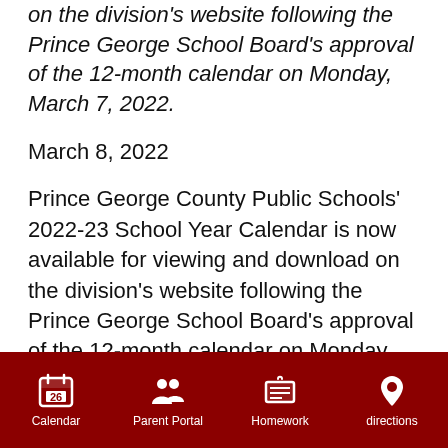on the division's website following the Prince George School Board's approval of the 12-month calendar on Monday, March 7, 2022.
March 8, 2022
Prince George County Public Schools' 2022-23 School Year Calendar is now available for viewing and download on the division's website following the Prince George School Board's approval of the 12-month calendar on Monday, March 7, 2022.
Click the link below to view and download the calendar.
LINK: PGCPS 2022-23 School Year Calendar
You can also find the calendar on the division's main
Calendar  Parent Portal  Homework  directions